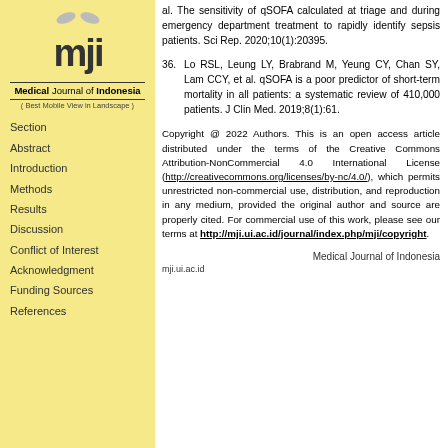[Figure (logo): Medical Journal of Indonesia logo with 'mji' text]
Medical Journal of Indonesia ( Best Mobile View in Landscape )
Section
Abstract
Introduction
Methods
Results
Discussion
Conflict of Interest
Acknowledgment
Funding Sources
References
al. The sensitivity of qSOFA calculated at triage and during emergency department treatment to rapidly identify sepsis patients. Sci Rep. 2020;10(1):20395.
36. Lo RSL, Leung LY, Brabrand M, Yeung CY, Chan SY, Lam CCY, et al. qSOFA is a poor predictor of short-term mortality in all patients: a systematic review of 410,000 patients. J Clin Med. 2019;8(1):61.
Copyright @ 2022 Authors. This is an open access article distributed under the terms of the Creative Commons Attribution-NonCommercial 4.0 International License (http://creativecommons.org/licenses/by-nc/4.0/), which permits unrestricted non-commercial use, distribution, and reproduction in any medium, provided the original author and source are properly cited. For commercial use of this work, please see our terms at http://mji.ui.ac.id/journal/index.php/mji/copyright.
Medical Journal of Indonesia
mji.ui.ac.id